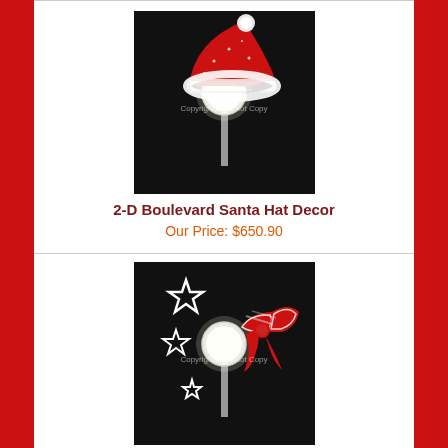[Figure (photo): Street lamp post decorated with a 2-D Santa hat ornament made of rhinestones/lights, red hat with white trim, on black background]
2-D Boulevard Santa Hat Decor
Our Price: $650.90
[Figure (photo): Street lamp post decorated with 2-D stars and red ribbon/bow ornament made of rhinestones/lights, on black background]
2-D Boulevard Stars & Ribbon